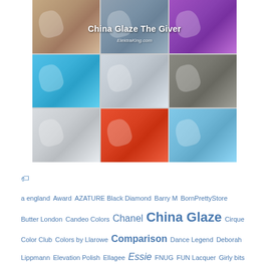[Figure (photo): A 3x3 grid collage of nail polish swatches and bottles. Top row: taupe/brown, gray-blue, and purple nails with China Glaze bottles. Middle row: sky blue, white/gray, and glitter gray nails. Bottom row: pale gray, coral/orange, and light blue nails. Text overlay reads 'China Glaze The Giver' and watermark 'ElektraKing.com'.]
a england  Award  AZATURE Black Diamond  Barry M  BornPrettyStore  Butter London  Candeo Colors  Chanel  China Glaze  Cirque  Color Club  Colors by Llarowe  Comparison  Dance Legend  Deborah Lippmann  Elevation Polish  Ellagee  Essie  FNUG  FUN Lacquer  Girly bits  Glam Polish  Gradient  Hare Polish  Illamasqua  ILNP (I Love Nail